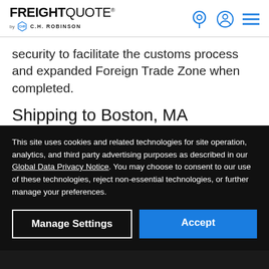FREIGHTQUOTE by C.H. ROBINSON
security to facilitate the customs process and expanded Foreign Trade Zone when completed.
Shipping to Boston, MA
Shipping to Boston
This site uses cookies and related technologies for site operation, analytics, and third party advertising purposes as described in our Global Data Privacy Notice. You may choose to consent to our use of these technologies, reject non-essential technologies, or further manage your preferences.
Boston is the oldest continually active port in the Western Hemisphere. Its Conley Container Terminal in South Boston serves six of the world's top 10 ocean carriers and handles about 2 million metric tons of cargo annually. The terminal provides efficient truck turn times from pedestal to pedestal of about 30 minutes. The terminal is